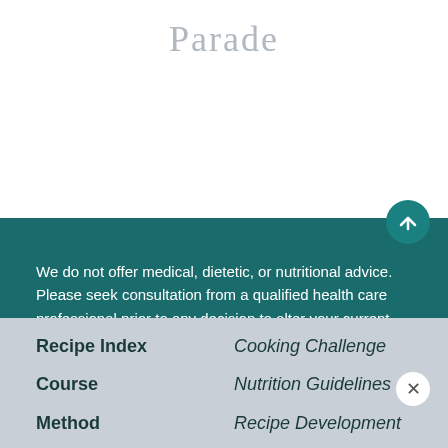Parade
We do not offer medical, dietetic, or nutritional advice. Please seek consultation from a qualified health care professional prior to any decision to alter your current diet. Learn more See additional information.
Recipe Index
Cooking Challenge
Course
Nutrition Guidelines
Method
Recipe Development